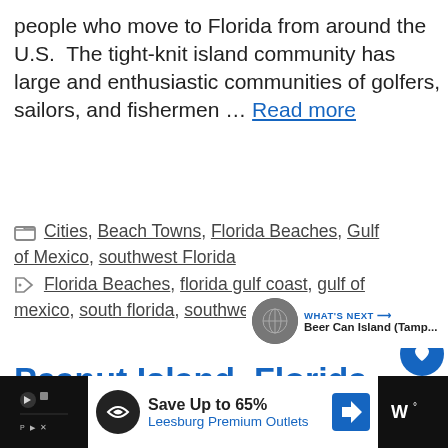people who move to Florida from around the U.S.  The tight-knit island community has large and enthusiastic communities of golfers, sailors, and fishermen … Read more
Cities, Beach Towns, Florida Beaches, Gulf of Mexico, southwest Florida
Florida Beaches, florida gulf coast, gulf of mexico, south florida, southwest florid-
WHAT'S NEXT → Beer Can Island (Tamp...
Peanut Island, Florida
Save Up to 65% Leesburg Premium Outlets